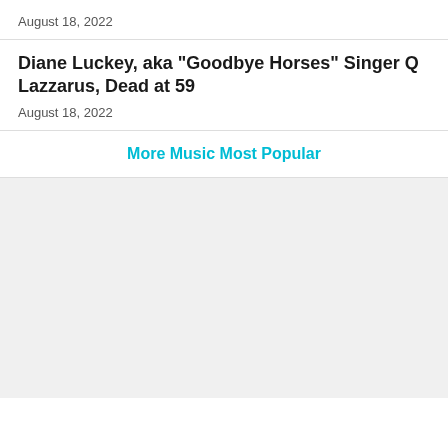August 18, 2022
Diane Luckey, aka "Goodbye Horses" Singer Q Lazzarus, Dead at 59
August 18, 2022
More Music Most Popular